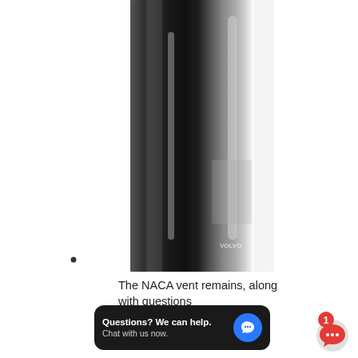[Figure (photo): Close-up photo of a dark/black glossy cylindrical object, likely a NACA vent or automotive part, with reflective metallic surfaces. The object appears tall and narrow against a white background. A small watermark or logo is visible in the lower right area of the photo.]
The NACA vent remains, along with questions
[Figure (screenshot): Dark tooltip/chat widget overlay with text 'Questions? We can help. Chat with us now.' and a blue circular chat icon button on the right side.]
[Figure (illustration): Red circular chat notification badge with a white '1' and a red speech bubble icon with ellipsis dots, indicating 1 unread message.]